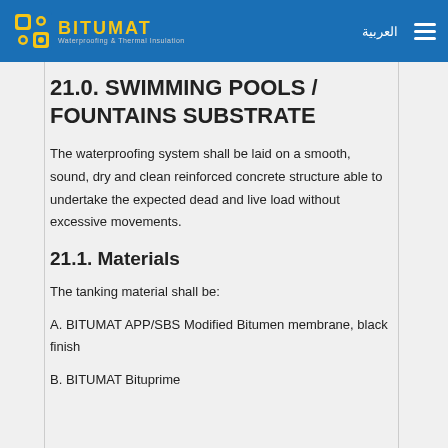BITUMAT Waterproofing & Thermal Insulation
21.0. SWIMMING POOLS / FOUNTAINS SUBSTRATE
The waterproofing system shall be laid on a smooth, sound, dry and clean reinforced concrete structure able to undertake the expected dead and live load without excessive movements.
21.1. Materials
The tanking material shall be:
A. BITUMAT APP/SBS Modified Bitumen membrane, black finish
B. BITUMAT Bituprime